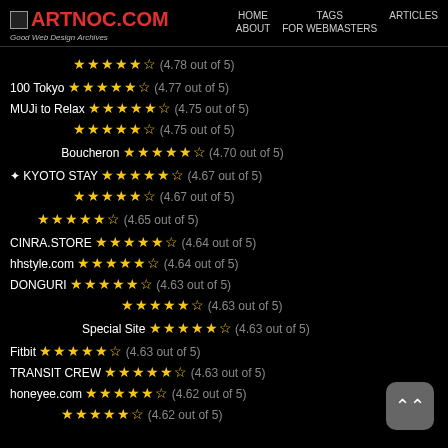ARTNOC.COM | HOME | TAGS | ARTICLES | ABOUT | FOR WEBMASTERS | Good Web Design Archives
（Japanese text） ★★★★★ (4.78 out of 5)
100 Tokyo ★★★★★ (4.77 out of 5)
MUJi to Relax ★★★★★ (4.75 out of 5)
（Japanese text） ★★★★★ (4.75 out of 5)
（Japanese text） Boucheron ★★★★★ (4.70 out of 5)
✦ KYOTO STAY ★★★★★ (4.67 out of 5)
（Japanese text） ★★★★★ (4.67 out of 5)
（Japanese text） ★★★★★ (4.65 out of 5)
CINRA.STORE ★★★★★ (4.64 out of 5)
hhstyle.com ★★★★★ (4.64 out of 5)
DONGURI ★★★★★ (4.63 out of 5)
（Japanese text） ★★★★★ (4.63 out of 5)
（Japanese text）Special Site ★★★★★ (4.63 out of 5)
Fitbit ★★★★★ (4.63 out of 5)
TRANSIT CREW ★★★★★ (4.63 out of 5)
honeyee.com ★★★★★ (4.62 out of 5)
（Japanese text） ★★★★★ (4.62 out of 5)